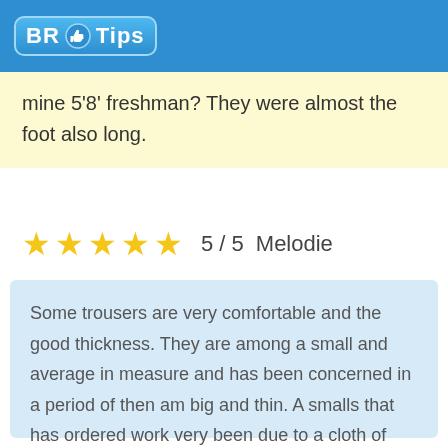BR Tips
mine 5'8' freshman? They were almost the foot also long.
5 / 5   Melodie
Some trousers are very comfortable and the good thickness. They are among a small and average in measure and has been concerned in a period of then am big and thin. A smalls that has ordered work very been due to a cloth of piece. A period has been just right.